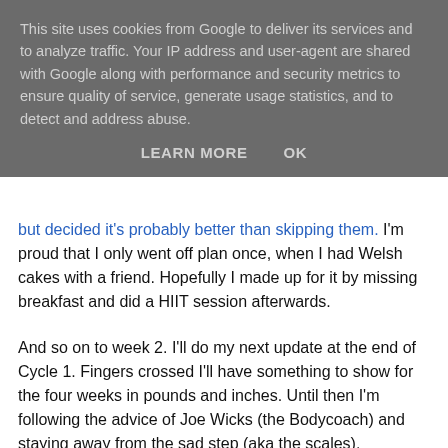This site uses cookies from Google to deliver its services and to analyze traffic. Your IP address and user-agent are shared with Google along with performance and security metrics to ensure quality of service, generate usage statistics, and to detect and address abuse.
LEARN MORE    OK
but decided it's probably better than skipping them.  I'm proud that I only went off plan once, when I had Welsh cakes with a friend. Hopefully I made up for it by missing breakfast and did a HIIT session afterwards.
And so on to week 2. I'll do my next update at the end of Cycle 1. Fingers crossed I'll have something to show for the four weeks in pounds and inches. Until then I'm following the advice of Joe Wicks (the Bodycoach) and staying away from the sad step (aka the scales).
Update!